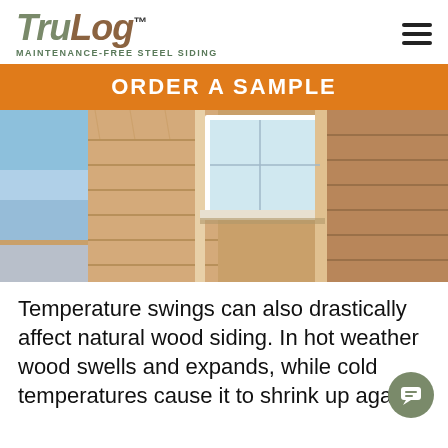TruLog™ MAINTENANCE-FREE STEEL SIDING
ORDER A SAMPLE
[Figure (photo): Close-up photograph of a building exterior with wood-look steel siding in tan/brown tones, showing horizontal lap siding panels and a white-framed window corner detail. Blue sky visible on the left.]
Temperature swings can also drastically affect natural wood siding. In hot weather wood swells and expands, while cold temperatures cause it to shrink up again.